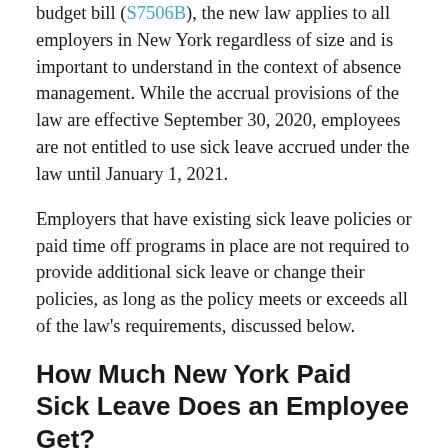budget bill (S7506B), the new law applies to all employers in New York regardless of size and is important to understand in the context of absence management. While the accrual provisions of the law are effective September 30, 2020, employees are not entitled to use sick leave accrued under the law until January 1, 2021.
Employers that have existing sick leave policies or paid time off programs in place are not required to provide additional sick leave or change their policies, as long as the policy meets or exceeds all of the law's requirements, discussed below.
How Much New York Paid Sick Leave Does an Employee Get?
Sick leave accrued under the New York…